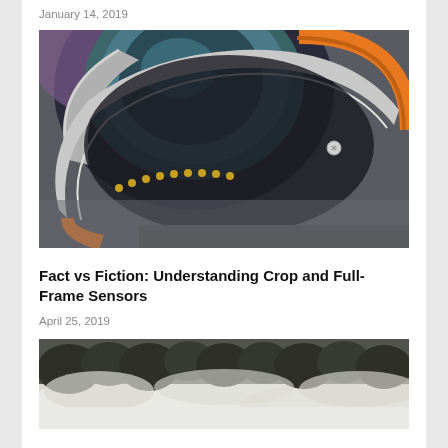January 14, 2019
[Figure (photo): Close-up photo of a camera lens mount with orange ring and gold contact pins on a gray surface]
Fact vs Fiction: Understanding Crop and Full-Frame Sensors
April 25, 2019
[Figure (photo): Aerial photo of misty forest landscape with fog among trees]